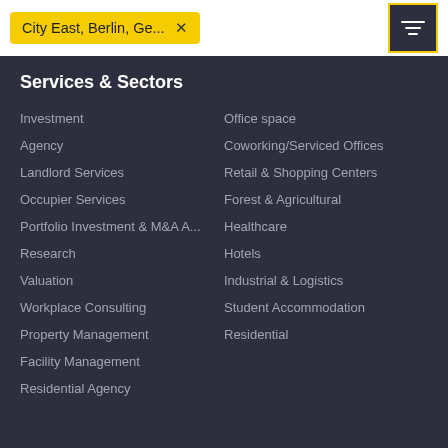[Figure (screenshot): Search bar with yellow pill showing 'City East, Berlin, Ge...' with X button and a filter/settings icon button with yellow border on the right]
Services & Sectors
Investment
Agency
Landlord Services
Occupier Services
Portfolio Investment & M&A A...
Research
Valuation
Workplace Consulting
Property Management
Facility Management
Residential Agency
Office space
Coworking/Serviced Offices
Retail & Shopping Centers
Forest & Agricultural
Healthcare
Hotels
Industrial & Logistics
Student Accommodation
Residential